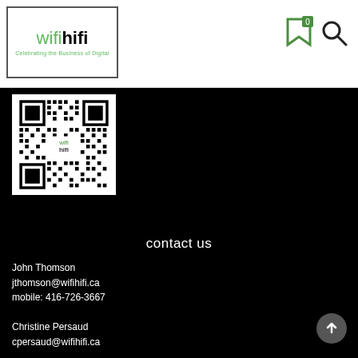[Figure (logo): wifihifi logo - 'wifi' in green light font, 'hifi' in black bold font, with tagline 'Celebrating the Business of Digital', enclosed in a rectangle border]
[Figure (other): Bookmark icon with badge showing 0 and a search/magnify icon, navigation icons in header]
[Figure (other): QR code for wifihifi website, white background with black QR pattern and 'wifi hifi' text in center]
contact us
John Thomson
jthomson@wifihifi.ca
mobile: 416-726-3667
Christine Persaud
cpersaud@wifihifi.ca